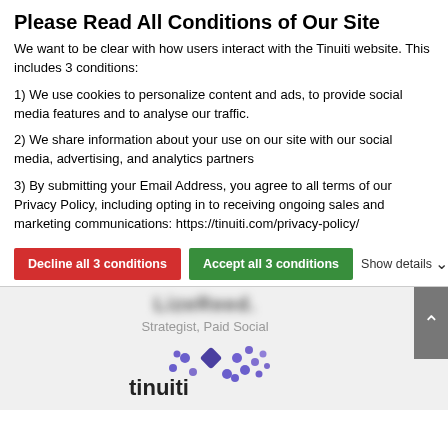Please Read All Conditions of Our Site
We want to be clear with how users interact with the Tinuiti website. This includes 3 conditions:
1) We use cookies to personalize content and ads, to provide social media features and to analyse our traffic.
2) We share information about your use on our site with our social media, advertising, and analytics partners
3) By submitting your Email Address, you agree to all terms of our Privacy Policy, including opting in to receiving ongoing sales and marketing communications: https://tinuiti.com/privacy-policy/
Decline all 3 conditions | Accept all 3 conditions | Show details
Strategist, Paid Social
[Figure (logo): Tinuiti company logo with purple dot pattern forming a diamond/circle shape and the word tinuiti in dark text]